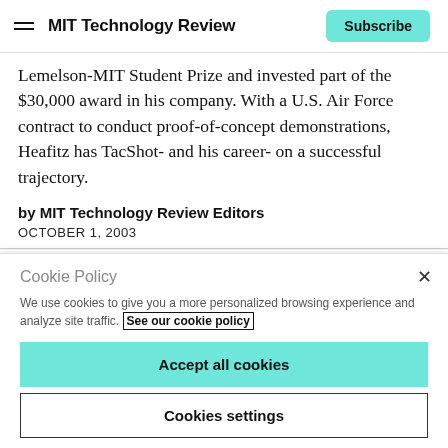MIT Technology Review | Subscribe
Lemelson-MIT Student Prize and invested part of the $30,000 award in his company. With a U.S. Air Force contract to conduct proof-of-concept demonstrations, Heafitz has TacShot- and his career- on a successful trajectory.
by MIT Technology Review Editors
OCTOBER 1, 2003
Cookie Policy
We use cookies to give you a more personalized browsing experience and analyze site traffic. See our cookie policy
Accept all cookies
Cookies settings